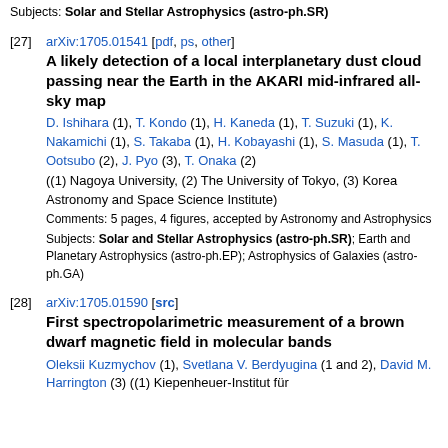Subjects: Solar and Stellar Astrophysics (astro-ph.SR)
[27] arXiv:1705.01541 [pdf, ps, other]
A likely detection of a local interplanetary dust cloud passing near the Earth in the AKARI mid-infrared all-sky map
D. Ishihara (1), T. Kondo (1), H. Kaneda (1), T. Suzuki (1), K. Nakamichi (1), S. Takaba (1), H. Kobayashi (1), S. Masuda (1), T. Ootsubo (2), J. Pyo (3), T. Onaka (2) ((1) Nagoya University, (2) The University of Tokyo, (3) Korea Astronomy and Space Science Institute)
Comments: 5 pages, 4 figures, accepted by Astronomy and Astrophysics
Subjects: Solar and Stellar Astrophysics (astro-ph.SR); Earth and Planetary Astrophysics (astro-ph.EP); Astrophysics of Galaxies (astro-ph.GA)
[28] arXiv:1705.01590 [src]
First spectropolarimetric measurement of a brown dwarf magnetic field in molecular bands
Oleksii Kuzmychov (1), Svetlana V. Berdyugina (1 and 2), David M. Harrington (3) ((1) Kiepenheuer-Institut für